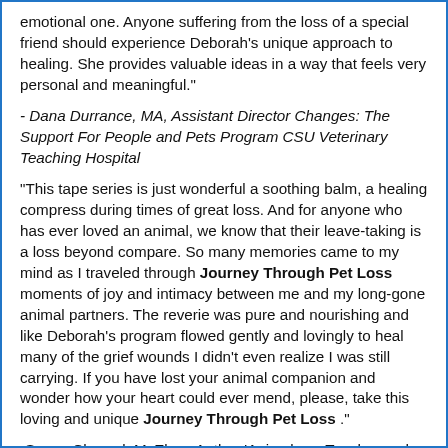emotional one. Anyone suffering from the loss of a special friend should experience Deborah’s unique approach to healing. She provides valuable ideas in a way that feels very personal and meaningful."
- Dana Durrance, MA, Assistant Director Changes: The Support For People and Pets Program CSU Veterinary Teaching Hospital
"This tape series is just wonderful a soothing balm, a healing compress during times of great loss. And for anyone who has ever loved an animal, we know that their leave-taking is a loss beyond compare. So many memories came to my mind as I traveled through Journey Through Pet Loss moments of joy and intimacy between me and my long-gone animal partners. The reverie was pure and nourishing and like Deborah’s program flowed gently and lovingly to heal many of the grief wounds I didn’t even realize I was still carrying. If you have lost your animal companion and wonder how your heart could ever mend, please, take this loving and unique Journey Through Pet Loss ."
-Susan Chernak McElroy, Author 'Animals as Teacher and Healers'